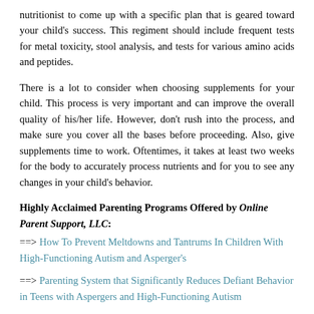nutritionist to come up with a specific plan that is geared toward your child's success. This regiment should include frequent tests for metal toxicity, stool analysis, and tests for various amino acids and peptides.
There is a lot to consider when choosing supplements for your child. This process is very important and can improve the overall quality of his/her life. However, don't rush into the process, and make sure you cover all the bases before proceeding. Also, give supplements time to work. Oftentimes, it takes at least two weeks for the body to accurately process nutrients and for you to see any changes in your child's behavior.
Highly Acclaimed Parenting Programs Offered by Online Parent Support, LLC:
==> How To Prevent Meltdowns and Tantrums In Children With High-Functioning Autism and Asperger's
==> Parenting System that Significantly Reduces Defiant Behavior in Teens with Aspergers and High-Functioning Autism